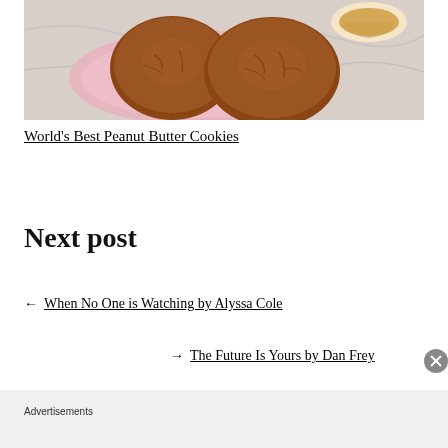[Figure (photo): Photo of peanut butter cookies on a pink plate with a tea cup in the background]
World's Best Peanut Butter Cookies
Next post
← When No One is Watching by Alyssa Cole
→ The Future Is Yours by Dan Frey
Advertisements